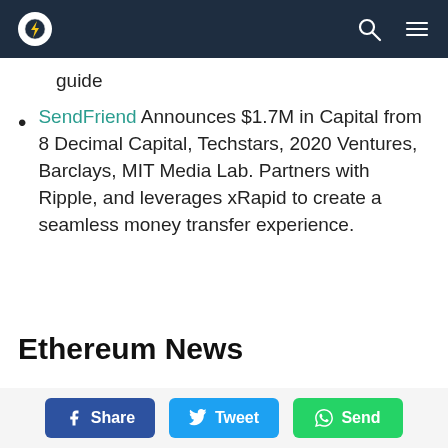Navigation bar with logo, search icon, and menu icon
guide
SendFriend Announces $1.7M in Capital from 8 Decimal Capital, Techstars, 2020 Ventures, Barclays, MIT Media Lab. Partners with Ripple, and leverages xRapid to create a seamless money transfer experience.
Ethereum News
Share  Tweet  Send